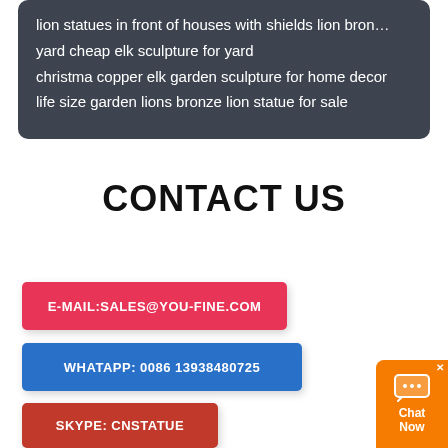lion statues in front of houses with shields lion bron…
yard cheap elk sculpture for yard
christma copper elk garden sculpture for home decor
life size garden lions bronze lion statue for sale
CONTACT US
E-MAIL:SALES@YOU-FINE.COM
WHATAPP: 0086 13938480725
SKYPE: CNSTATUE